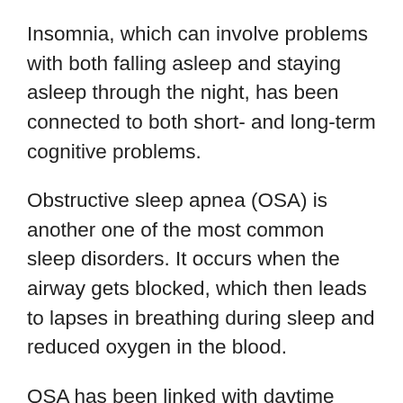Insomnia, which can involve problems with both falling asleep and staying asleep through the night, has been connected to both short- and long-term cognitive problems.
Obstructive sleep apnea (OSA) is another one of the most common sleep disorders. It occurs when the airway gets blocked, which then leads to lapses in breathing during sleep and reduced oxygen in the blood.
OSA has been linked with daytime sleepiness as well as notable cognitive problems related to attention, thinking, memory, and communication. Studies have also found that people with sleep apnea have a higher risk of